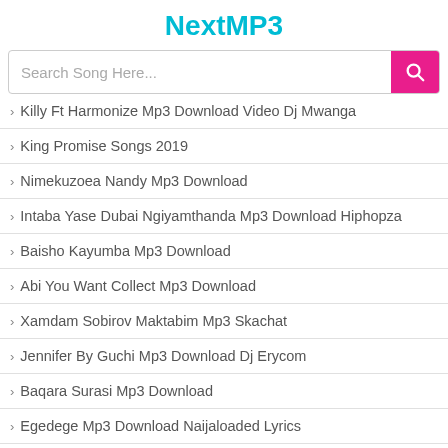NextMP3
Search Song Here...
Killy Ft Harmonize Mp3 Download Video Dj Mwanga
King Promise Songs 2019
Nimekuzoea Nandy Mp3 Download
Intaba Yase Dubai Ngiyamthanda Mp3 Download Hiphopza
Baisho Kayumba Mp3 Download
Abi You Want Collect Mp3 Download
Xamdam Sobirov Maktabim Mp3 Skachat
Jennifer By Guchi Mp3 Download Dj Erycom
Baqara Surasi Mp3 Download
Egedege Mp3 Download Naijaloaded Lyrics
Folake For The Night Mp3 Download By Buju
Black Sherif New Song Mp3 Download Abotr3